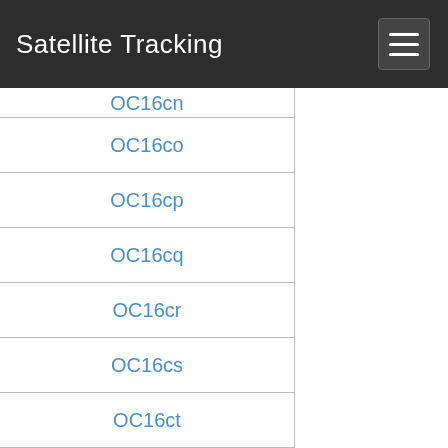Satellite Tracking
OC16cn
OC16co
OC16cp
OC16cq
OC16cr
OC16cs
OC16ct
OC16cu
OC16cv
OC16cw
OC16cx
OC16da
OC16db
OC16dc
OC16dd
OC16de
OC16df
OC16dg